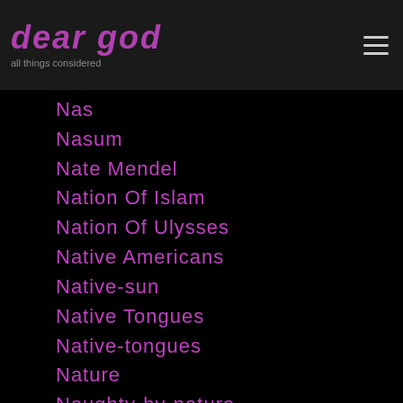dear god
Nas
Nasum
Nate Mendel
Nation Of Islam
Nation Of Ulysses
Native Americans
Native-sun
Native Tongues
Native-tongues
Nature
Naughty-by-nature
Nazz Raidience
NBA
Neil Gaiman
Neil-halstead
Neil Peart
Neil-strauss